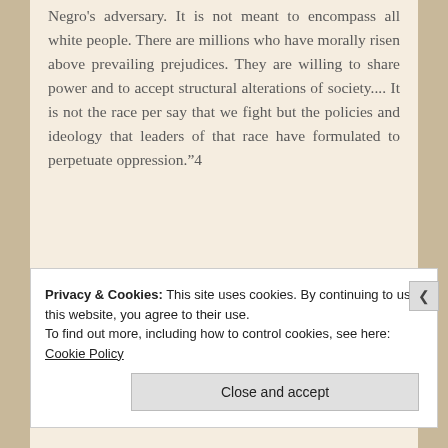Negro's adversary. It is not meant to encompass all white people. There are millions who have morally risen above prevailing prejudices. They are willing to share power and to accept structural alterations of society.... It is not the race per say that we fight but the policies and ideology that leaders of that race have formulated to perpetuate oppression.”4
Privacy & Cookies: This site uses cookies. By continuing to use this website, you agree to their use. To find out more, including how to control cookies, see here: Cookie Policy
Close and accept